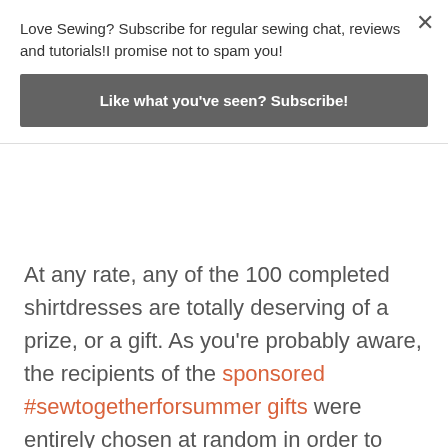Love Sewing? Subscribe for regular sewing chat, reviews and tutorials!I promise not to spam you!
Like what you've seen? Subscribe!
At any rate, any of the 100 completed shirtdresses are totally deserving of a prize, or a gift. As you're probably aware, the recipients of the sponsored #sewtogetherforsummer gifts were entirely chosen at random in order to ensure that everyone who entered had a fair chance of receiving something irrespective of sewing skill – this Challenge was always about